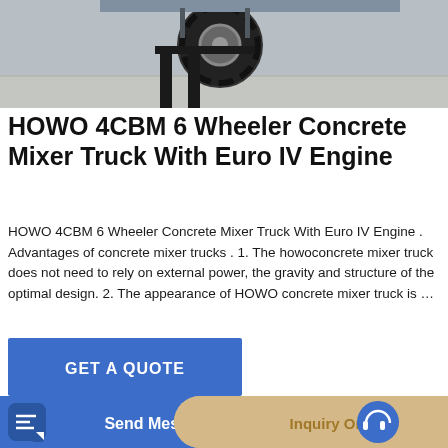[Figure (photo): Top portion of a concrete mixer truck or heavy machinery with a large tire visible, photographed on a concrete surface]
HOWO 4CBM 6 Wheeler Concrete Mixer Truck With Euro IV Engine
HOWO 4CBM 6 Wheeler Concrete Mixer Truck With Euro IV Engine . Advantages of concrete mixer trucks . 1. The howoconcrete mixer truck does not need to rely on external power, the gravity and structure of the optimal design. 2. The appearance of HOWO concrete mixer truck is …
[Figure (other): Blue button labeled GET A QUOTE]
[Figure (photo): Yellow concrete mixer machine with drum labeled DISCHAR MIXING, photographed in front of a blue industrial building]
[Figure (other): Bottom navigation bar with Send Message button (blue) and Inquiry Online button (tan/beige)]